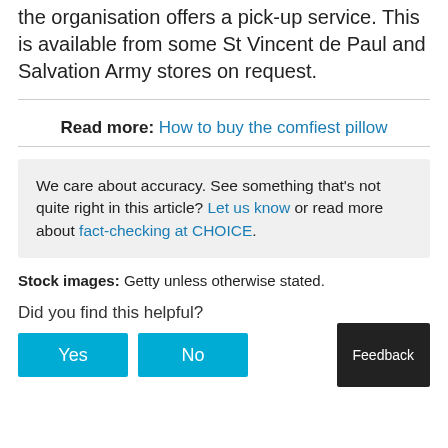the organisation offers a pick-up service. This is available from some St Vincent de Paul and Salvation Army stores on request.
Read more: How to buy the comfiest pillow
We care about accuracy. See something that's not quite right in this article? Let us know or read more about fact-checking at CHOICE.
Stock images: Getty unless otherwise stated.
Did you find this helpful?